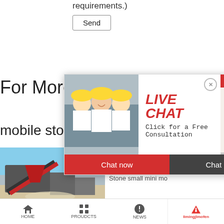requirements.)
Send
For More Information
mobile sto
[Figure (screenshot): Live Chat popup overlay with workers in yellow hard hats, LIVE CHAT heading in red italic, 'Click for a Free Consultation' text, close button, '4Hrs Online' red banner, operator photo, 'Chat now' red button and 'Chat later' dark button]
[Figure (photo): Stone crusher machinery at a quarry site, red and grey conveyor/equipment]
Best Quality c stone crusher
Stone small mini mo
[Figure (screenshot): Right sidebar with 'Need questions & suggestion?' in dark background, 'Chat Now' red oval button, 'Enquiry' text, 'limingjlmofen' in red]
HOME   PROUDCTS   NEWS   limingjlmofen